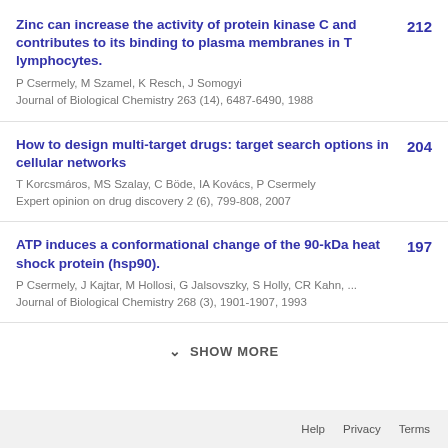Zinc can increase the activity of protein kinase C and contributes to its binding to plasma membranes in T lymphocytes. P Csermely, M Szamel, K Resch, J Somogyi Journal of Biological Chemistry 263 (14), 6487-6490, 1988 | 212
How to design multi-target drugs: target search options in cellular networks T Korcsmáros, MS Szalay, C Böde, IA Kovács, P Csermely Expert opinion on drug discovery 2 (6), 799-808, 2007 | 204
ATP induces a conformational change of the 90-kDa heat shock protein (hsp90). P Csermely, J Kajtar, M Hollosi, G Jalsovszky, S Holly, CR Kahn, ... Journal of Biological Chemistry 268 (3), 1901-1907, 1993 | 197
SHOW MORE
Help  Privacy  Terms